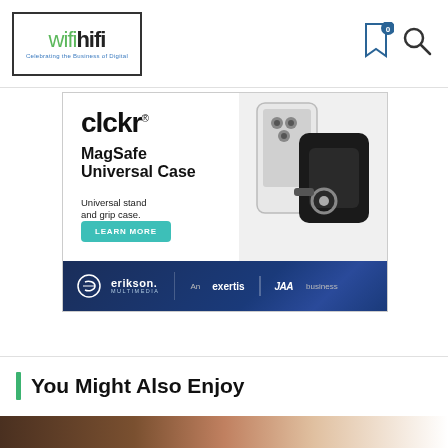wifihifi — Celebrating the Business of Digital
[Figure (advertisement): CLCKR MagSafe Universal Case advertisement. Shows CLCKR logo, product name 'MagSafe Universal Case', subtext 'Universal stand and grip case.', a green 'LEARN MORE' button, a product photo of a phone with grip case, and Erikson Multimedia / exertis JAM business footer.]
You Might Also Enjoy
[Figure (photo): Partial bottom strip showing a dark brownish image, cropped, beginning of a 'You Might Also Enjoy' article thumbnail.]